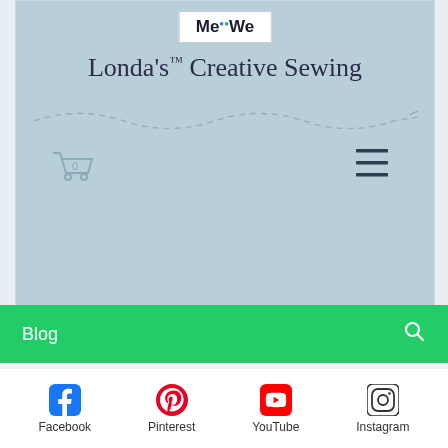[Figure (screenshot): MeWe logo badge at top of website header]
Londa's Creative Sewing
[Figure (illustration): Dashed stitch line decoration below site title]
[Figure (illustration): Shopping cart icon with 0 badge and hamburger menu icon on light blue header background]
Blog
Sewing Tips
CURLED
[Figure (photo): Thumbnail image of knitted or textured fabric in grey tones]
[Figure (infographic): Social media icons bar: Facebook, Pinterest, YouTube, Instagram]